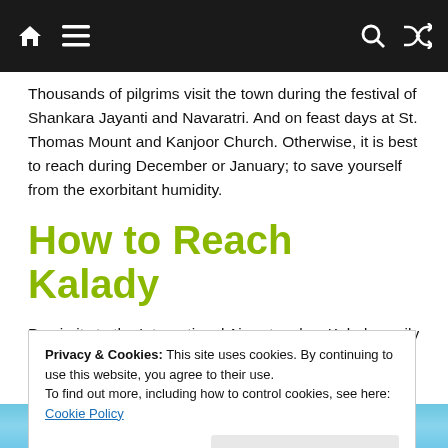[Navigation bar with home icon, menu icon, search icon, shuffle icon]
Thousands of pilgrims visit the town during the festival of Shankara Jayanti and Navaratri. And on feast days at St. Thomas Mount and Kanjoor Church. Otherwise, it is best to reach during December or January; to save yourself from the exorbitant humidity.
How to Reach Kalady
Proximity to the International Airport makes Kalady easily accessible from anywhere. The nearest
Privacy & Cookies: This site uses cookies. By continuing to use this website, you agree to their use.
To find out more, including how to control cookies, see here: Cookie Policy
Close and accept